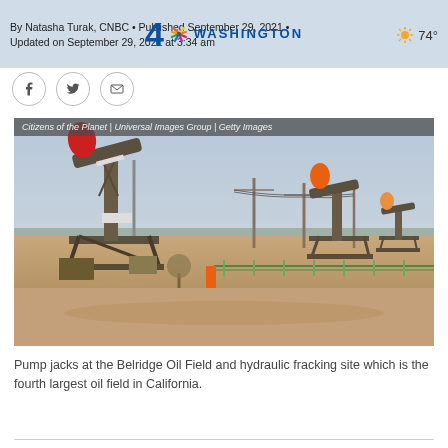By Natasha Turak, CNBC • Published September 29, 2021 • Updated on September 29, 2021 at 3:34 am | 4 NBC WASHINGTON | 74°
[Figure (photo): Pump jacks at the Belridge Oil Field and hydraulic fracking site in California. Multiple oil pump jacks visible against a hazy sky with flat terrain. Photo credit: Citizens of the Planet | Universal Images Group | Getty Images]
Pump jacks at the Belridge Oil Field and hydraulic fracking site which is the fourth largest oil field in California.